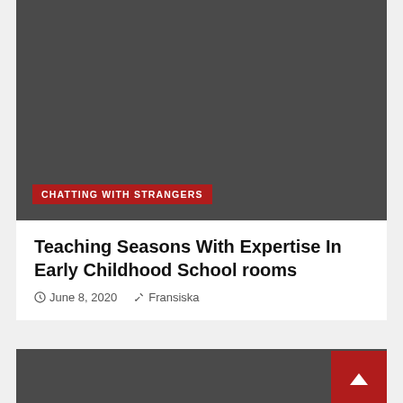[Figure (photo): Dark gray image placeholder for article thumbnail, top card]
CHATTING WITH STRANGERS
Teaching Seasons With Expertise In Early Childhood School rooms
June 8, 2020   Fransiska
[Figure (photo): Dark gray image placeholder for second article thumbnail, bottom card]